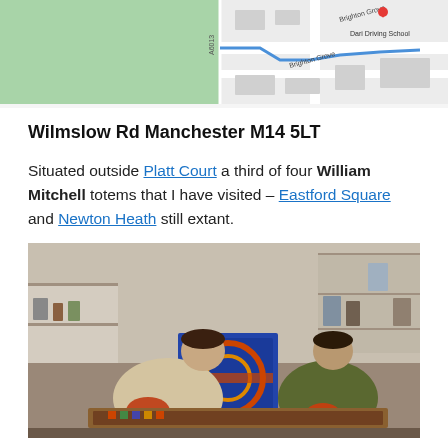[Figure (map): Google Maps view showing Wilmslow Road area, Manchester, with Brighton Grove label, Dari Driving School label, and a blue route line]
Wilmslow Rd Manchester M14 5LT
Situated outside Platt Court a third of four William Mitchell totems that I have visited – Eastford Square and Newton Heath still extant.
[Figure (photo): Vintage colour photograph of two young men working on a large decorative art piece on the floor in a studio or workshop, with shelves of materials in the background]